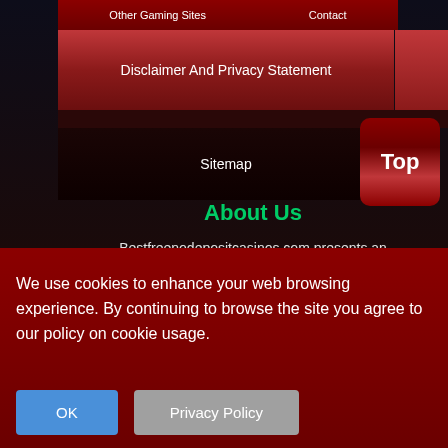Other Gaming Sites | Contact
Disclaimer And Privacy Statement
Sitemap
Top
About Us
Bestfreenodepositcasinos.com presents an independent directory and information about
We use cookies to enhance your web browsing experience. By continuing to browse the site you agree to our policy on cookie usage.
OK
Privacy Policy